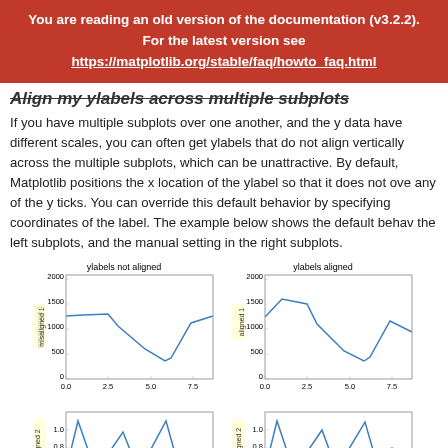You are reading an old version of the documentation (v3.2.2). For the latest version see https://matplotlib.org/stable/faq/howto_faq.html
Align my ylabels across multiple subplots
If you have multiple subplots over one another, and the y data have different scales, you can often get ylabels that do not align vertically across the multiple subplots, which can be unattractive. By default, Matplotlib positions the x location of the ylabel so that it does not overlap any of the y ticks. You can override this default behavior by specifying the coordinates of the label. The example below shows the default behavior in the left subplots, and the manual setting in the right subplots.
[Figure (line-chart): Top-left subplot showing misaligned ylabel, line chart with y from 0 to 2000, x from 0.0 to 7.5]
[Figure (line-chart): Top-right subplot showing aligned ylabel, line chart with y from 0 to 2000, x from 0.0 to 7.5]
[Figure (line-chart): Bottom-left subplot, misaligned 2, y from 0.4 to 1.0, x from 0.0 to 7.5]
[Figure (line-chart): Bottom-right subplot, aligned 2, y from 0.4 to 1.0, x from 0.0 to 7.5]